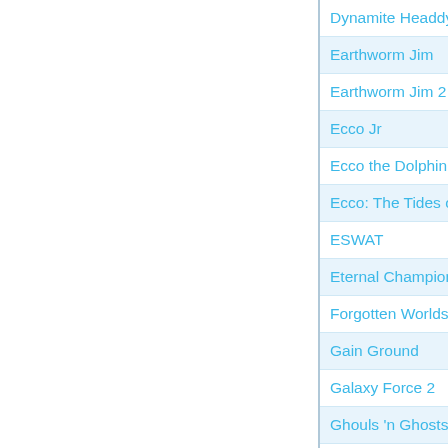Dynamite Headdy
Earthworm Jim
Earthworm Jim 2
Ecco Jr
Ecco the Dolphin
Ecco: The Tides of T
ESWAT
Eternal Champions
Forgotten Worlds
Gain Ground
Galaxy Force 2
Ghouls 'n Ghosts
Gleylancer